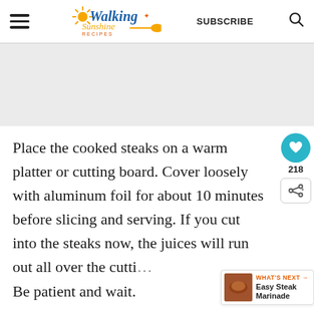Walking Sunshine Recipes | SUBSCRIBE
[Figure (other): Gray advertisement/placeholder area]
Place the cooked steaks on a warm platter or cutting board. Cover loosely with aluminum foil for about 10 minutes before slicing and serving. If you cut into the steaks now, the juices will run out all over the cutti… Be patient and wait.